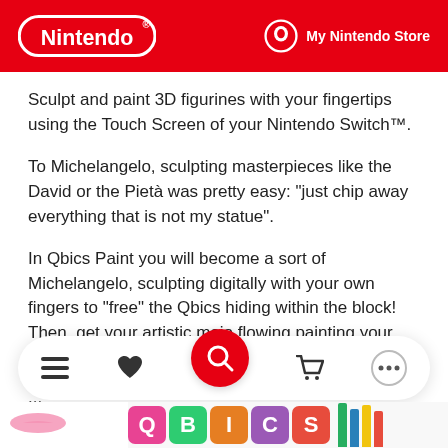Nintendo | My Nintendo Store
Sculpt and paint 3D figurines with your fingertips using the Touch Screen of your Nintendo Switch™.
To Michelangelo, sculpting masterpieces like the David or the Pietà was pretty easy: "just chip away everything that is not my statue".
In Qbics Paint you will become a sort of Michelangelo, sculpting digitally with your own fingers to "free" the Qbics hiding within the block! Then, get your artistic mojo flowing painting your Qbics.
...
+ Read more
[Figure (screenshot): Mobile app bottom navigation bar with menu, heart, search (red circle), cart, and more icons; below is a bottom image strip showing colorful QBICS letter blocks and colored pencils.]